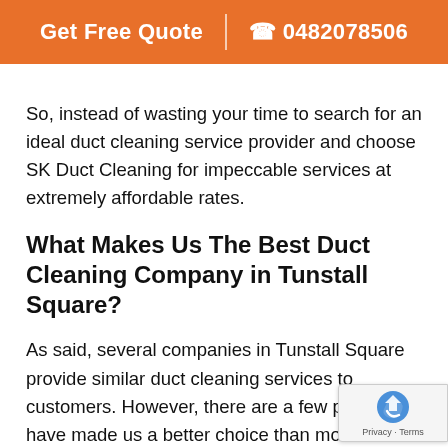Get Free Quote | 0482078506
So, instead of wasting your time to search for an ideal duct cleaning service provider and choose SK Duct Cleaning for impeccable services at extremely affordable rates.
What Makes Us The Best Duct Cleaning Company in Tunstall Square?
As said, several companies in Tunstall Square provide similar duct cleaning services to customers. However, there are a few points that have made us a better choice than most of the other companies operating in Tunstall Square. Let us have a look the points that made SK Duct Cleaning the best business: